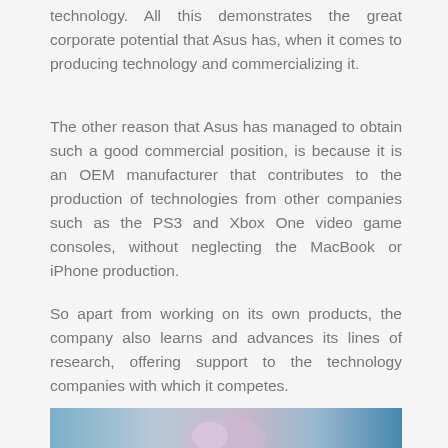technology. All this demonstrates the great corporate potential that Asus has, when it comes to producing technology and commercializing it.
The other reason that Asus has managed to obtain such a good commercial position, is because it is an OEM manufacturer that contributes to the production of technologies from other companies such as the PS3 and Xbox One video game consoles, without neglecting the MacBook or iPhone production.
So apart from working on its own products, the company also learns and advances its lines of research, offering support to the technology companies with which it competes.
[Figure (photo): A blue-toned abstract or close-up photograph, partially visible at the bottom of the page.]